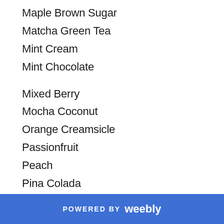Maple Brown Sugar
Matcha Green Tea
Mint Cream
Mint Chocolate
Mixed Berry
Mocha Coconut
Orange Creamsicle
Passionfruit
Peach
Pina Colada
Pistachio *
Pumpkin Spice
Raspberry
POWERED BY weebly